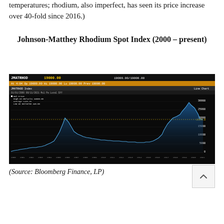temperatures; rhodium, also imperfect, has seen its price increase over 40-fold since 2016.)
Johnson-Matthey Rhodium Spot Index (2000 – present)
[Figure (continuous-plot): Bloomberg terminal screenshot showing JMATRHOD Index line chart from 2000 to 2021. The chart shows rhodium spot price on a dark/black background. Price was low from 2000-2006, spiked around 2007-2008, dropped sharply to near zero in 2008-2009, remained low until a dramatic spike to approximately 29000-30000 in 2020-2021. Current value shown as 19000.00.]
(Source: Bloomberg Finance, LP)